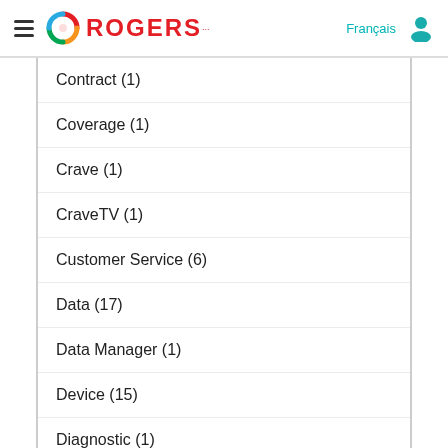Rogers
Contract (1)
Coverage (1)
Crave (1)
CraveTV (1)
Customer Service (6)
Data (17)
Data Manager (1)
Device (15)
Diagnostic (1)